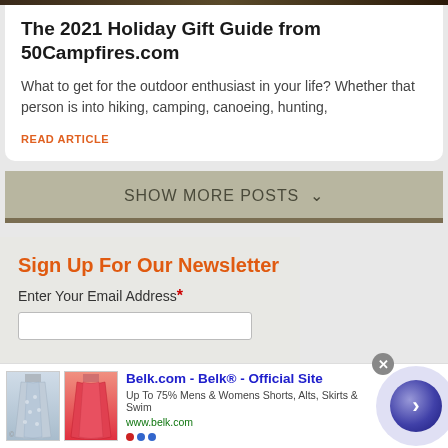The 2021 Holiday Gift Guide from 50Campfires.com
What to get for the outdoor enthusiast in your life? Whether that person is into hiking, camping, canoeing, hunting,
READ ARTICLE
SHOW MORE POSTS
Sign Up For Our Newsletter
Enter Your Email Address*
[Figure (screenshot): Advertisement banner for Belk.com showing skirt images]
Belk.com - Belk® - Official Site
Up To 75% Mens & Womens Shorts, Alts, Skirts & Swim
www.belk.com